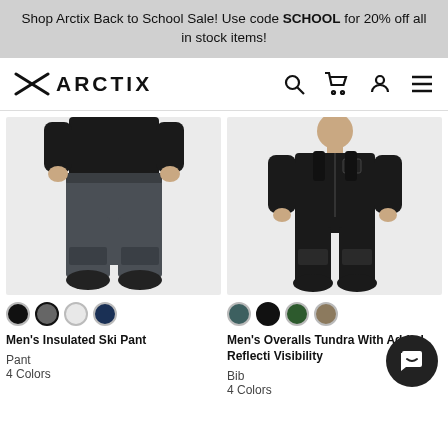Shop Arctix Back to School Sale! Use code SCHOOL for 20% off all in stock items!
[Figure (logo): Arctix brand logo with crossed arrow icon and ARCTIX text, plus navigation icons (search, cart, account, menu)]
[Figure (photo): Man wearing dark charcoal Men's Insulated Ski Pants, shown from waist down]
[Figure (photo): Man wearing black Men's Overalls Tundra Bib with added reflectivity, full body view]
Men's Insulated Ski Pant
Pant
4 Colors
Men's Overalls Tundra With Added Reflectivity Visibility
Bib
4 Colors